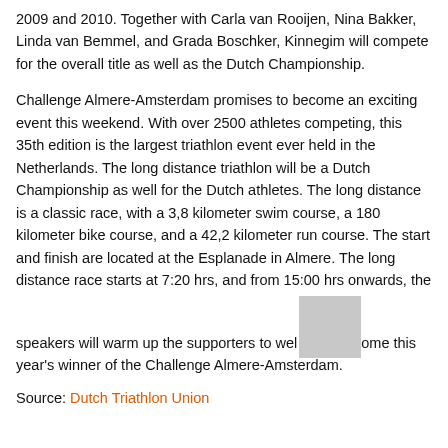2009 and 2010. Together with Carla van Rooijen, Nina Bakker, Linda van Bemmel, and Grada Boschker, Kinnegim will compete for the overall title as well as the Dutch Championship.
Challenge Almere-Amsterdam promises to become an exciting event this weekend. With over 2500 athletes competing, this 35th edition is the largest triathlon event ever held in the Netherlands. The long distance triathlon will be a Dutch Championship as well for the Dutch athletes. The long distance is a classic race, with a 3,8 kilometer swim course, a 180 kilometer bike course, and a 42,2 kilometer run course. The start and finish are located at the Esplanade in Almere. The long distance race starts at 7:20 hrs, and from 15:00 hrs onwards, the speakers will warm up the supporters to welcome this year's winner of the Challenge Almere-Amsterdam.
Source: Dutch Triathlon Union